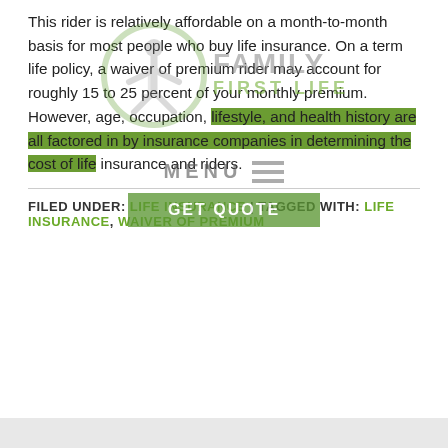This rider is relatively affordable on a month-to-month basis for most people who buy life insurance. On a term life policy, a waiver of premium rider may account for roughly 15 to 25 percent of your monthly premium. However, age, occupation, lifestyle, and health history are all factored in by insurance companies in determining the cost of life insurance and riders.
[Figure (logo): Family First Life logo watermark with person icon inside circle, text FAMILY FIRST LIFE, MENU with hamburger icon, and GET QUOTE button in green]
FILED UNDER: LIFE INSURANCE | TAGGED WITH: LIFE INSURANCE, WAIVER OF PREMIUM